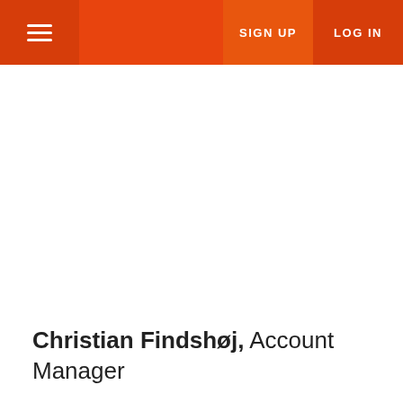SIGN UP  LOG IN
Christian Findshøj, Account Manager
"Personally, I like the development I have